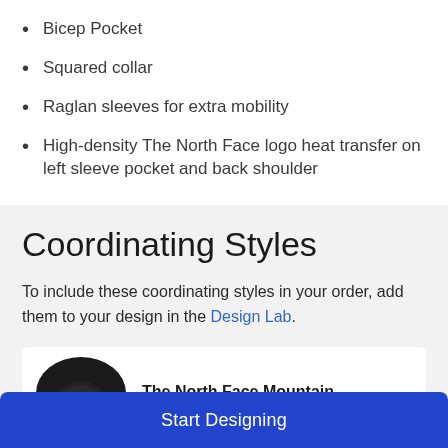Bicep Pocket
Squared collar
Raglan sleeves for extra mobility
High-density The North Face logo heat transfer on left sleeve pocket and back shoulder
Coordinating Styles
To include these coordinating styles in your order, add them to your design in the Design Lab.
The North Face Mountain
Start Designing